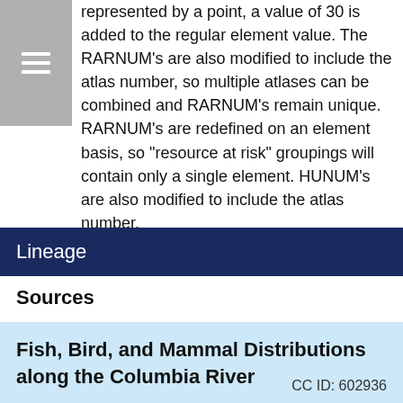represented by a point, a value of 30 is added to the regular element value. The RARNUM's are also modified to include the atlas number, so multiple atlases can be combined and RARNUM's remain unique. RARNUM's are redefined on an element basis, so "resource at risk" groupings will contain only a single element. HUNUM's are also modified to include the atlas number.
Lineage
Sources
Fish, Bird, and Mammal Distributions along the Columbia River
CC ID: 602936